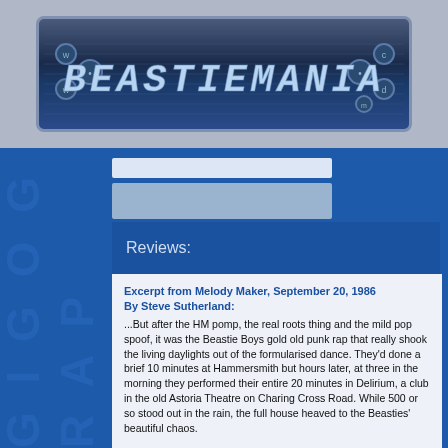[Figure (logo): BEASTIEMANIA logo in digital LCD-style font on dark blue metallic background with decorative dots]
Reviews:
Excerpt from Melody Maker, September 20, 1986
By Steve Sutherland:
...But after the HM pomp, the real roots thing and the mild pop spoof, it was the Beastie Boys gold old punk rap that really shook the living daylights out of the formularised dance. They'd done a brief 10 minutes at Hammersmith but hours later, at three in the morning they performed their entire 20 minutes in Delirium, a club in the old Astoria Theatre on Charing Cross Road. While 500 or so stood out in the rain, the full house heaved to the Beasties' beautiful chaos.

Run DMC had already stormed the deejay, Whodini were attempting to get in on the act and LL was ranting off to the side before the whole shebang was forcibly silenced, a tiny space cleared and the Beasties launched in.